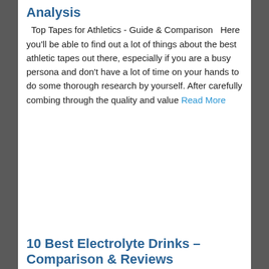Analysis
Top Tapes for Athletics - Guide & Comparison   Here you'll be able to find out a lot of things about the best athletic tapes out there, especially if you are a busy persona and don't have a lot of time on your hands to do some thorough research by yourself. After carefully combing through the quality and value Read More
[Figure (other): Advertisement or blank white space block]
10 Best Electrolyte Drinks – Comparison & Reviews
The Essential Guide to Finding the Best Electrolyte Drink + Reviews   When you exercise, your body is losing some